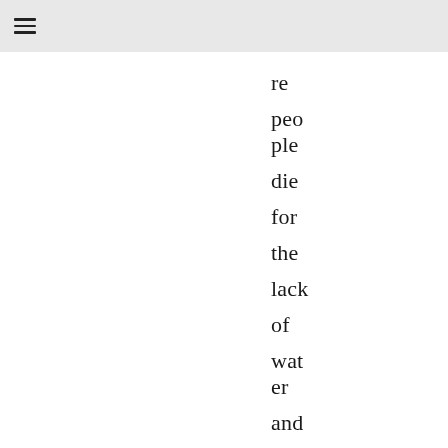≡
re peo ple die for the lack of wat er and co mp assi on. Edg ar is